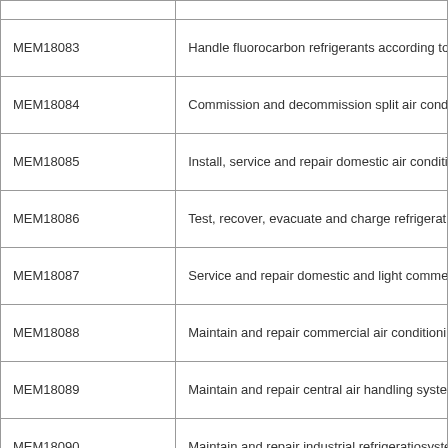| Code | Description |
| --- | --- |
| MEM18083 | Handle fluorocarbon refrigerants according to re... |
| MEM18084 | Commission and decommission split air conditio... |
| MEM18085 | Install, service and repair domestic air condition... |
| MEM18086 | Test, recover, evacuate and charge refrigeration... |
| MEM18087 | Service and repair domestic and light commerc... |
| MEM18088 | Maintain and repair commercial air conditioning... |
| MEM18089 | Maintain and repair central air handling systems... |
| MEM18090 | Maintain and repair industrial refrigeration syste... |
| MEM18094 | Service and repair commercial refrigeration |
| MEM18095 | Maintain and repair cooling towers/evaporative... |
| MEM18096 | Maintain, repair/replace and adjust refrigerant fl... |